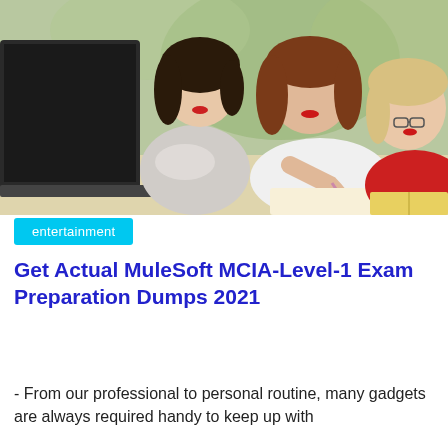[Figure (photo): Three young women studying together outdoors near a laptop, one writing with a pen, others looking at the screen or reading a book.]
entertainment
Get Actual MuleSoft MCIA-Level-1 Exam Preparation Dumps 2021
- From our professional to personal routine, many gadgets are always required handy to keep up with